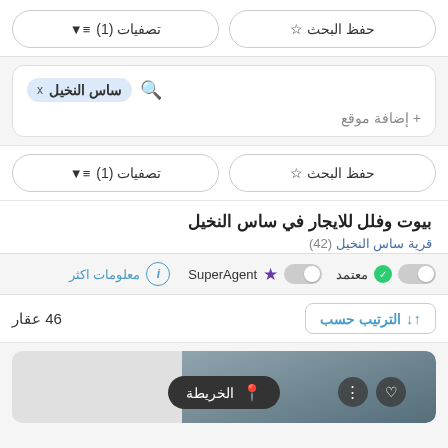حفظ البحث ☆
تصفيات (1) ≡▼
[Figure (screenshot): Search box with tag 'ساس النخيل x' and a magnifying glass icon, and '+ إضافة موقع' below]
حفظ البحث ☆
تصفيات (1) ≡▼
بيوت وفلل للايجار في ساس النخيل
قرية ساس النخيل (42)
معتمد ✓  SuperAgent ★  معلومات اكثر ⓘ
46 عقار
↑↓ الترتيب حسب
[Figure (screenshot): Property card area with map button 'الخريطة', dots icon, heart icon, and a background image of a skyline]